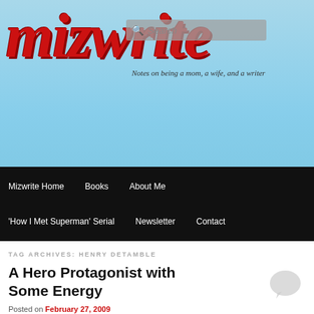[Figure (screenshot): Mizwrite blog header with red cursive logo on light blue sky background]
Search
Mizwrite Home | Books | About Me | 'How I Met Superman' Serial | Newsletter | Contact
TAG ARCHIVES: HENRY DETAMBLE
A Hero Protagonist with Some Energy
Posted on February 27, 2009
So last weekend we had our book club – The Namesake.